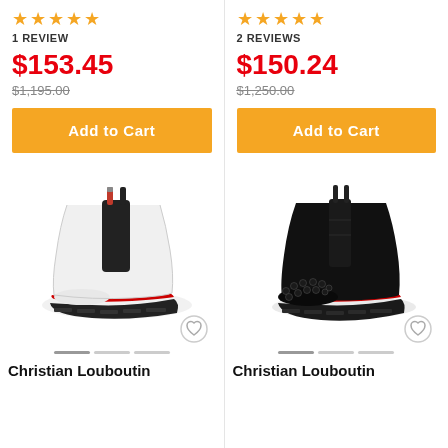1 REVIEW
$153.45
$1,195.00
Add to Cart
2 REVIEWS
$150.24
$1,250.00
Add to Cart
[Figure (photo): White Christian Louboutin chelsea boot with black elastic panel and red sole]
[Figure (photo): Black Christian Louboutin boot with spike studs on toe and red sole]
Christian Louboutin
Christian Louboutin